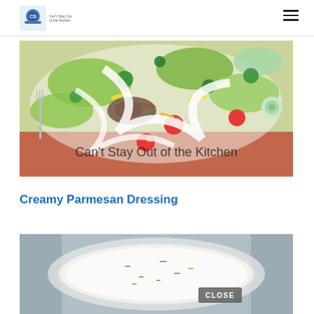Can't Stay Out of the Kitchen
[Figure (photo): Overhead photo of a taco salad with lettuce, cherry tomatoes, shredded cheddar cheese, cilantro, cucumber slices, seasoned ground beef, and creamy white dressing drizzled on top, with a fork visible. Watermark text reads: Can't Stay Out of the Kitchen]
Creamy Parmesan Dressing
[Figure (photo): Close-up photo of a glass bowl filled with creamy white Parmesan dressing with visible herb flecks, partially overlaid with a CLOSE button in the bottom right corner.]